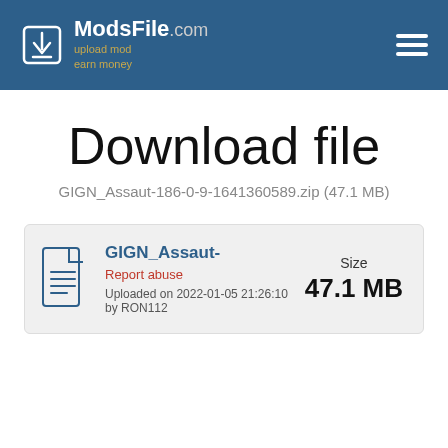ModsFile.com — upload mod earn money
Download file
GIGN_Assaut-186-0-9-1641360589.zip (47.1 MB)
GIGN_Assaut- | Report abuse | Uploaded on 2022-01-05 21:26:10 by RON112 | Size 47.1 MB